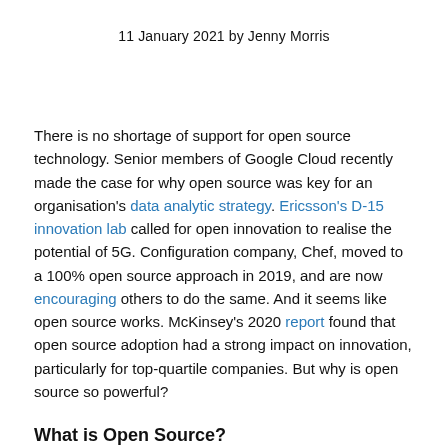11 January 2021 by Jenny Morris
There is no shortage of support for open source technology. Senior members of Google Cloud recently made the case for why open source was key for an organisation's data analytic strategy. Ericsson's D-15 innovation lab called for open innovation to realise the potential of 5G. Configuration company, Chef, moved to a 100% open source approach in 2019, and are now encouraging others to do the same. And it seems like open source works. McKinsey's 2020 report found that open source adoption had a strong impact on innovation, particularly for top-quartile companies. But why is open source so powerful?
What is Open Source?
Firstly, a quick introduction to open source. It's a collaborative software (and to a lesser extent hardware) development approach that has become something of a philosophy in recent years. All